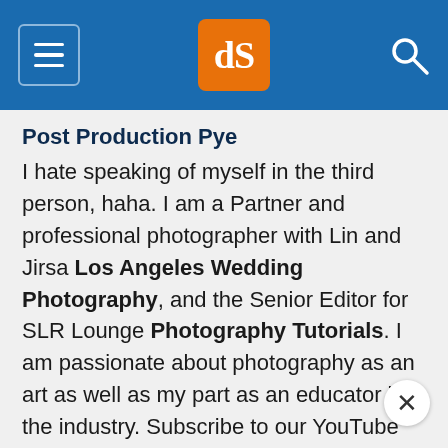dPS logo navigation bar
Post Production Pye
I hate speaking of myself in the third person, haha. I am a Partner and professional photographer with Lin and Jirsa Los Angeles Wedding Photography, and the Senior Editor for SLR Lounge Photography Tutorials. I am passionate about photography as an art as well as my part as an educator in the industry. Subscribe to our YouTube Channel and feel free to hit me up with questions anytime on